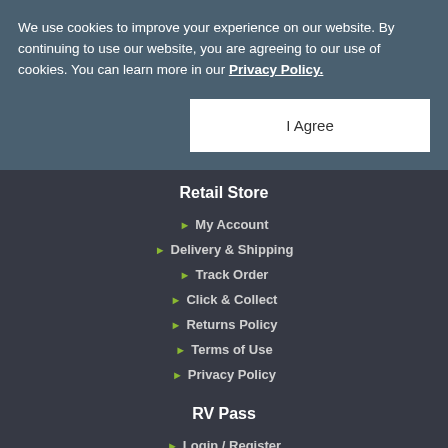We use cookies to improve your experience on our website. By continuing to use our website, you are agreeing to our use of cookies. You can learn more in our Privacy Policy.
I Agree
Retail Store
My Account
Delivery & Shipping
Track Order
Click & Collect
Returns Policy
Terms of Use
Privacy Policy
RV Pass
Login / Register